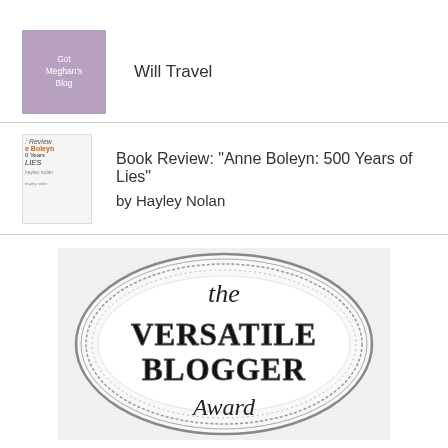[Figure (logo): Got Meghan's Blog logo - purple/mauve square with white text]
Will Travel
[Figure (illustration): Book cover thumbnail for 'Anne Boleyn: 500 Years of Lies' by Hayley Nolan]
Book Review: "Anne Boleyn: 500 Years of Lies"
by Hayley Nolan
[Figure (illustration): The Versatile Blogger Award medal - circular silver medallion with decorative border, text reads 'the VERSATILE BLOGGER Award']